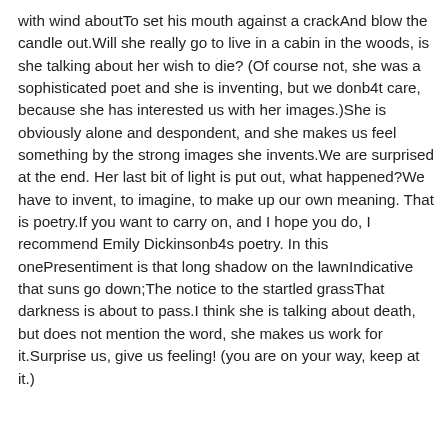with wind aboutTo set his mouth against a crackAnd blow the candle out.Will she really go to live in a cabin in the woods, is she talking about her wish to die? (Of course not, she was a sophisticated poet and she is inventing, but we donb4t care, because she has interested us with her images.)She is obviously alone and despondent, and she makes us feel something by the strong images she invents.We are surprised at the end. Her last bit of light is put out, what happened?We have to invent, to imagine, to make up our own meaning. That is poetry.If you want to carry on, and I hope you do, I recommend Emily Dickinsonb4s poetry. In this onePresentiment is that long shadow on the lawnIndicative that suns go down;The notice to the startled grassThat darkness is about to pass.I think she is talking about death, but does not mention the word, she makes us work for it.Surprise us, give us feeling! (you are on your way, keep at it.)